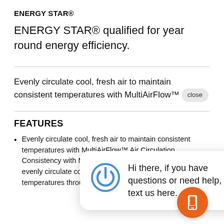ENERGY STAR®
ENERGY STAR® qualified for year round energy efficiency.
Evenly circulate cool, fresh air to maintain consistent temperatures with MultiAirFlow™
FEATURES
Evenly circulate cool, fresh air to maintain consistent temperatures with MultiAirFlow™ Air Circulation Consistency with MultiAirFlow™ With MultiAirFlow™, evenly circulate cool, fresh air to maintain consistent temperatures throughout the entire fridge cavity, from door
[Figure (other): Chat popup overlay with a blue power/chat icon and text: 'Hi there, if you have questions or need help, text us here.' with a close button and an orange mobile phone button.]